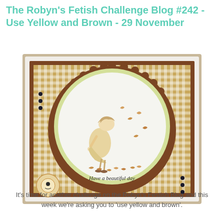The Robyn's Fetish Challenge Blog #242 - Use Yellow and Brown - 29 November
[Figure (photo): A handmade greeting card featuring a brown and yellow gingham background with a scalloped brown circle mat, a yellow-rimmed white circle containing an illustration of a girl bending over with autumn leaves blowing around her, and the text 'Have a beautiful day' at the bottom of the circle. Small dark jewel dots are arranged on the left and right edges of the card. A small decorative badge appears in the lower left corner.]
It's time for another challenge on the Robyn's Festish Blog and this week we're asking you to 'use yellow and brown'.